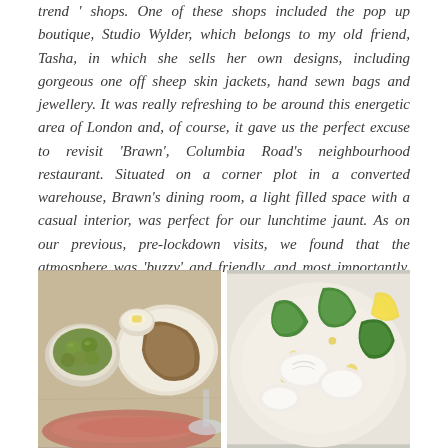trend ' shops. One of these shops included the pop up boutique, Studio Wylder, which belongs to my old friend, Tasha, in which she sells her own designs, including gorgeous one off sheep skin jackets, hand sewn bags and jewellery. It was really refreshing to be around this energetic area of London and, of course, it gave us the perfect excuse to revisit 'Brawn', Columbia Road's neighbourhood restaurant. Situated on a corner plot in a converted warehouse, Brawn's dining room, a light filled space with a casual interior, was perfect for our lunchtime jaunt. As on our previous, pre-lockdown visits, we found that the atmosphere was 'buzzy' and friendly, and most importantly, that the food was delicious.
[Figure (photo): Photo of a table with food: a bowl of green olives, a plate with sliced bread/toast, a small bowl with butter, and sliced charcuterie meats in the foreground.]
[Figure (photo): Photo of a white plate with a seafood dish: scallops or white fish pieces with green leaves (possibly cucumber or courgette), drizzled with oil.]